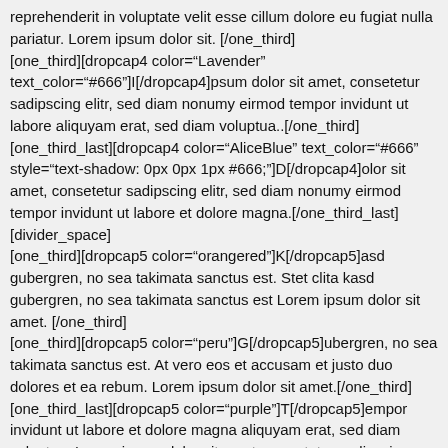reprehenderit in voluptate velit esse cillum dolore eu fugiat nulla pariatur. Lorem ipsum dolor sit. [/one_third]
[one_third][dropcap4 color="Lavender" text_color="#666"]I[/dropcap4]psum dolor sit amet, consetetur sadipscing elitr, sed diam nonumy eirmod tempor invidunt ut labore aliquyam erat, sed diam voluptua..[/one_third]
[one_third_last][dropcap4 color="AliceBlue" text_color="#666" style="text-shadow: 0px 0px 1px #666;"]D[/dropcap4]olor sit amet, consetetur sadipscing elitr, sed diam nonumy eirmod tempor invidunt ut labore et dolore magna.[/one_third_last]
[divider_space]
[one_third][dropcap5 color="orangered"]K[/dropcap5]asd gubergren, no sea takimata sanctus est. Stet clita kasd gubergren, no sea takimata sanctus est Lorem ipsum dolor sit amet. [/one_third]
[one_third][dropcap5 color="peru"]G[/dropcap5]ubergren, no sea takimata sanctus est. At vero eos et accusam et justo duo dolores et ea rebum. Lorem ipsum dolor sit amet.[/one_third]
[one_third_last][dropcap5 color="purple"]T[/dropcap5]empor invidunt ut labore et dolore magna aliquyam erat, sed diam voluptua. Lorem ipsum dolor sit amet, consetetur sadipscing elitr.
[/one_third_last]